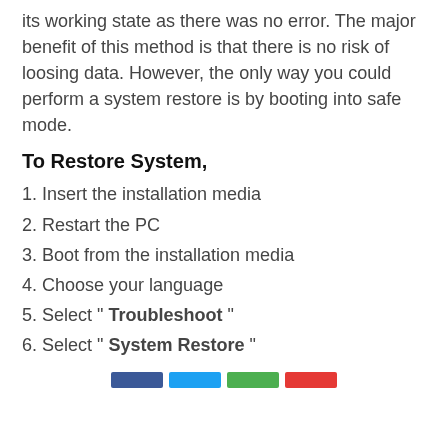its working state as there was no error. The major benefit of this method is that there is no risk of loosing data. However, the only way you could perform a system restore is by booting into safe mode.
To Restore System,
1. Insert the installation media
2. Restart the PC
3. Boot from the installation media
4. Choose your language
5. Select " Troubleshoot "
6. Select " System Restore "
[Figure (infographic): Social sharing buttons: Facebook (blue), Twitter (light blue), Google+ (green), Pinterest (red)]